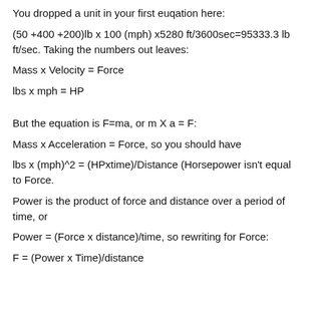You dropped a unit in your first euqation here:
(50 +400 +200)lb x 100 (mph) x5280 ft/3600sec=95333.3 lb ft/sec. Taking the numbers out leaves:
Mass x Velocity = Force
lbs x mph = HP
But the equation is F=ma, or m X a = F:
Mass x Acceleration = Force, so you should have
lbs x (mph)^2 = (HPxtime)/Distance (Horsepower isn't equal to Force.
Power is the product of force and distance over a period of time, or
Power = (Force x distance)/time, so rewriting for Force:
F = (Power x Time)/distance